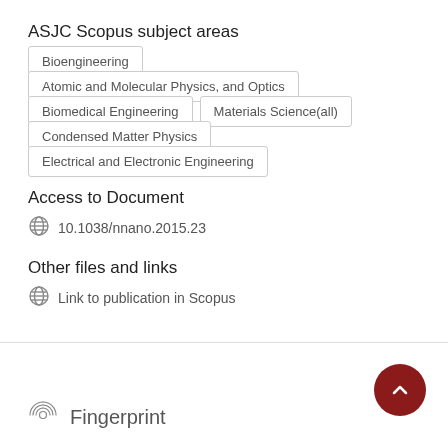ASJC Scopus subject areas
Bioengineering
Atomic and Molecular Physics, and Optics
Biomedical Engineering
Materials Science(all)
Condensed Matter Physics
Electrical and Electronic Engineering
Access to Document
10.1038/nnano.2015.23
Other files and links
Link to publication in Scopus
Fingerprint